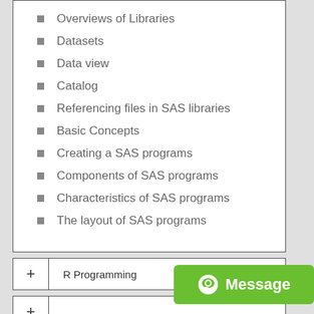Overviews of Libraries
Datasets
Data view
Catalog
Referencing files in SAS libraries
Basic Concepts
Creating a SAS programs
Components of SAS programs
Characteristics of SAS programs
The layout of SAS programs
+ R Programming
+
[Figure (other): Green Message button overlay with chat icon]